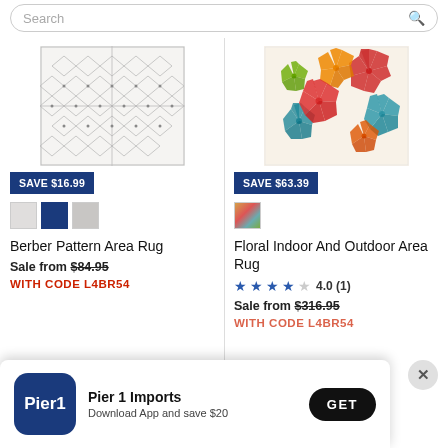[Figure (screenshot): Search bar at top of e-commerce page]
[Figure (photo): Berber Pattern Area Rug - geometric trellis pattern in gray and white]
SAVE $16.99
Berber Pattern Area Rug
Sale from $84.95
WITH CODE L4BR54
[Figure (photo): Floral Indoor And Outdoor Area Rug - colorful floral pattern with red, orange, green, teal flowers on cream background]
SAVE $63.39
Floral Indoor And Outdoor Area Rug
4.0 (1)
Sale from $316.95
WITH CODE L4BR54
[Figure (logo): Pier 1 Imports app download banner with Pier1 logo, text 'Pier 1 Imports - Download App and save $20' and GET button]